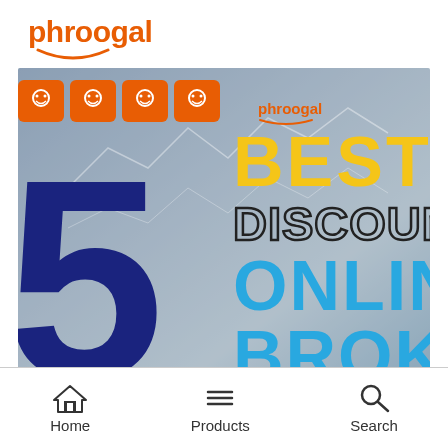[Figure (logo): Phroogal logo in orange with smiley face accent]
[Figure (infographic): 5 Best Discount Online Broker promotional image with large blue '5', yellow 'BEST', outlined 'DISCOUNT', blue 'ONLINE BROKER' text over a laptop/keyboard background with Phroogal branding and orange icon squares]
[Figure (infographic): Bottom navigation bar with Home, Products, and Search icons]